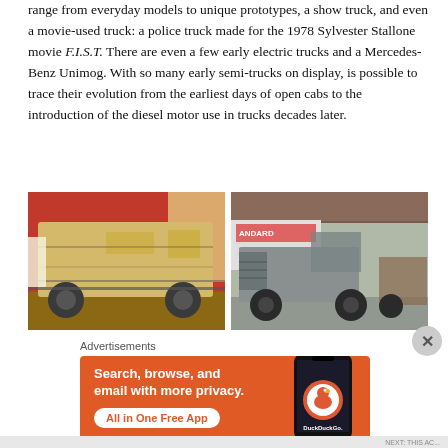range from everyday models to unique prototypes, a show truck, and even a movie-used truck: a police truck made for the 1978 Sylvester Stallone movie F.I.S.T. There are even a few early electric trucks and a Mercedes-Benz Unimog. With so many early semi-trucks on display, is possible to trace their evolution from the earliest days of open cabs to the introduction of the diesel motor use in trucks decades later.
[Figure (photo): Old tan/cream colored early electric truck displayed indoors against a red wall in a museum setting]
[Figure (photo): Old gray/silver early open-cab truck displayed indoors in a large museum warehouse, with signage visible in background]
Advertisements
[Figure (infographic): DuckDuckGo advertisement with orange background showing 'Search, browse, and email with more privacy. All in One Free App' with DuckDuckGo logo on a phone mockup]